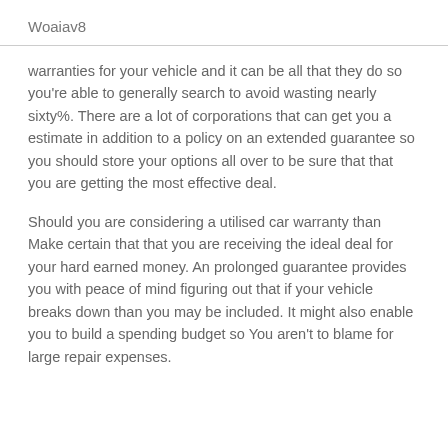Woaiav8
warranties for your vehicle and it can be all that they do so you're able to generally search to avoid wasting nearly sixty%. There are a lot of corporations that can get you a estimate in addition to a policy on an extended guarantee so you should store your options all over to be sure that that you are getting the most effective deal.
Should you are considering a utilised car warranty than Make certain that that you are receiving the ideal deal for your hard earned money. An prolonged guarantee provides you with peace of mind figuring out that if your vehicle breaks down than you may be included. It might also enable you to build a spending budget so You aren't to blame for large repair expenses.